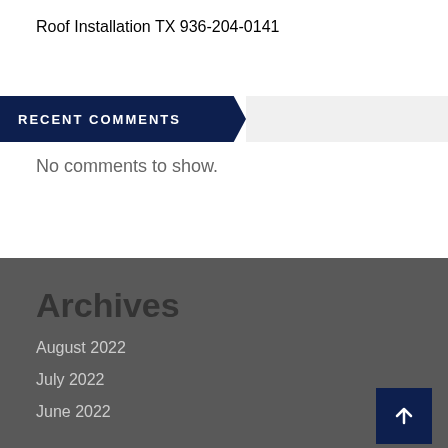Roof Installation TX 936-204-0141
RECENT COMMENTS
No comments to show.
Archives
August 2022
July 2022
June 2022